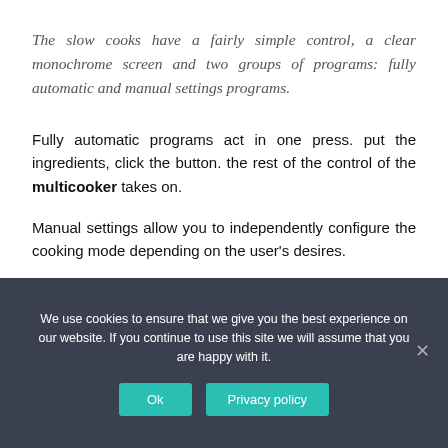The slow cooks have a fairly simple control, a clear monochrome screen and two groups of programs: fully automatic and manual settings programs.
Fully automatic programs act in one press. put the ingredients, click the button. the rest of the control of the multicooker takes on.
Manual settings allow you to independently configure the cooking mode depending on the user's desires.
We use cookies to ensure that we give you the best experience on our website. If you continue to use this site we will assume that you are happy with it.